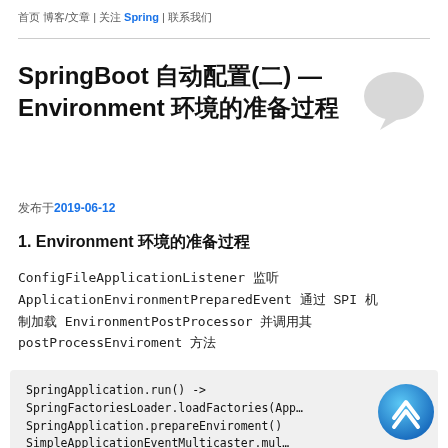首页 博客/文章 | 关注 Spring | 联系我们
SpringBoot 自动配置(二) — Environment 环境的准备过程
发布于2019-06-12
1. Environment 环境的准备过程
ConfigFileApplicationListener 监听 ApplicationEnvironmentPreparedEvent 通过 SPI 机制加载 EnvironmentPostProcessor 并调用其 postProcessEnviroment 方法
SpringApplication.run() ->
SpringFactoriesLoader.loadFactories(App...
SpringApplication.prepareEnviroment()
SimpleApplicationEventMulticaster.mul...
ConfigFileApplicationListener.onApplicat...
EnviromentPostProcessor.postProcessEnvir...